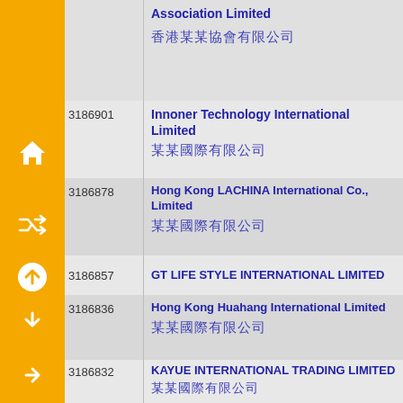| ID | Company Name |
| --- | --- |
|  | Association Limited / 香港某某協會有限公司 |
| 3186901 | Innoner Technology International Limited / 某某科技國際有限公司 |
| 3186878 | Hong Kong LACHINA International Co., Limited / 某某國際有限公司 |
| 3186857 | GT LIFE STYLE INTERNATIONAL LIMITED |
| 3186836 | Hong Kong Huahang International Limited / 某某國際有限公司 |
| 3186832 | KAYUE INTERNATIONAL TRADING LIMITED / 某某國際有限公司 |
| 3186831 | YIWU L L INTERNATIONAL TRADE CO., LIMITED / 某某國際貿易有限公司 |
| 3186820 | Ozner ispring International (Hong Kong) Limited |